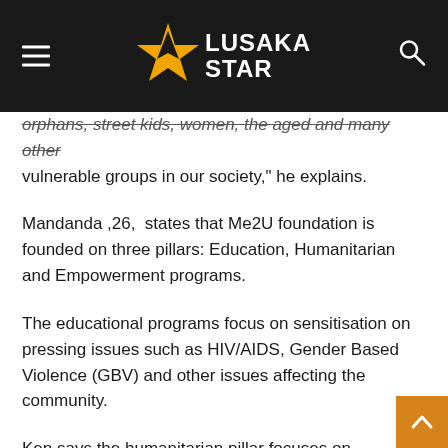LUSAKA STAR
orphans, street kids, women, the aged and many other vulnerable groups in our society," he explains.
Mandanda ,26,  states that Me2U foundation is founded on three pillars: Education, Humanitarian and Empowerment programs.
The educational programs focus on sensitisation on pressing issues such as HIV/AIDS, Gender Based Violence (GBV) and other issues affecting the community.
Ken says the humanitarian pillar focuses on donations of food and clothing to the less privileged in society.
"We have what we call 'salaula day,' where we buy second